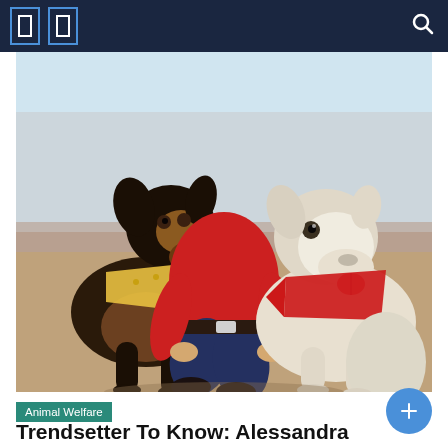Navigation bar with icons and search
[Figure (photo): A person wearing a red sweater crouching between two dogs outdoors on sandy/gravelly ground. The left dog is a dark-colored dog (black and tan, possibly a shepherd mix) wearing a yellow bandana. The right dog is a white dog wearing a red bandana. Both dogs have their tongues out and appear happy.]
Animal Welfare
Trendsetter To Know: Alessandra Navidad,